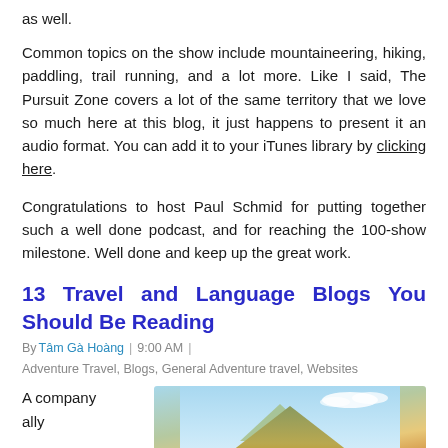as well.
Common topics on the show include mountaineering, hiking, paddling, trail running, and a lot more. Like I said, The Pursuit Zone covers a lot of the same territory that we love so much here at this blog, it just happens to present it an audio format. You can add it to your iTunes library by clicking here.
Congratulations to host Paul Schmid for putting together such a well done podcast, and for reaching the 100-show milestone. Well done and keep up the great work.
13 Travel and Language Blogs You Should Be Reading
By Tâm Gà Hoàng | 9:00 AM | Adventure Travel, Blogs, General Adventure travel, Websites
A company
[Figure (photo): Outdoor landscape photo showing a mountain or rocky terrain with blue sky and clouds in the background]